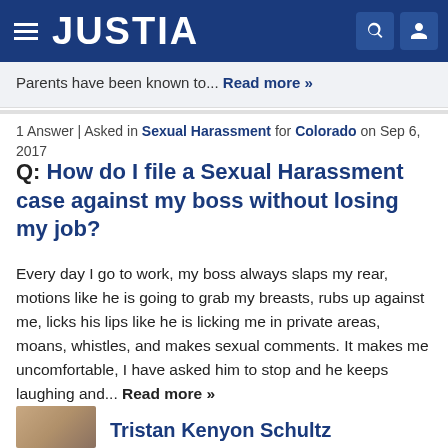JUSTIA
Parents have been known to... Read more »
1 Answer | Asked in Sexual Harassment for Colorado on Sep 6, 2017
Q: How do I file a Sexual Harassment case against my boss without losing my job?
Every day I go to work, my boss always slaps my rear, motions like he is going to grab my breasts, rubs up against me, licks his lips like he is licking me in private areas, moans, whistles, and makes sexual comments. It makes me uncomfortable, I have asked him to stop and he keeps laughing and... Read more »
Tristan Kenyon Schultz